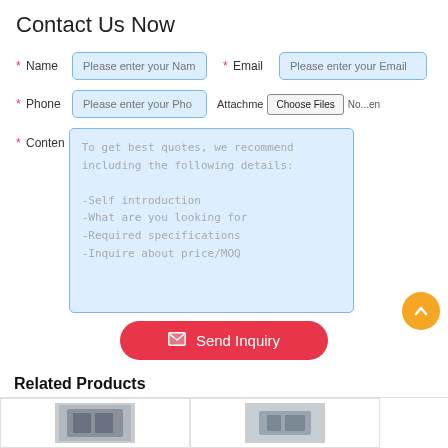Contact Us Now
* Name  Please enter your Name   * Email  Please enter your Email
* Phone  Please enter your Phone   Attachment  Choose Files  No...en
* Content  To get best quotes, we recommend including the following details:
-Self introduction
-What are you looking for
-Required specifications
-Inquire about price/MOQ
Send Inquiry
Related Products
[Figure (photo): Two product thumbnail images in related products section]